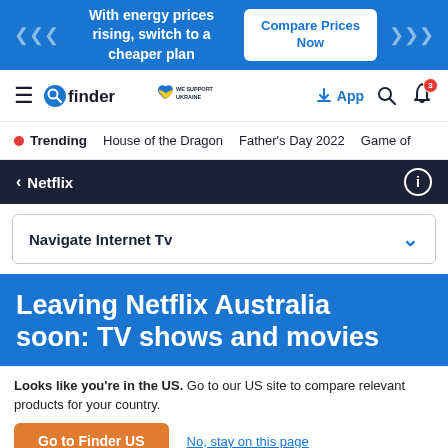With energy prices rising, switch to a cheaper plan | Compare Prices Now
[Figure (screenshot): Finder website navigation bar with hamburger menu, finder logo, Ukraine support badge, App link, search icon, and notification bell with badge count 3]
Trending   House of the Dragon   Father's Day 2022   Game of
< Netflix
Navigate Internet Tv
Leaving Netflix Australia soon: TV shows and movies
Looks like you're in the US. Go to our US site to compare relevant products for your country.
Go to Finder US
No, stay on this page